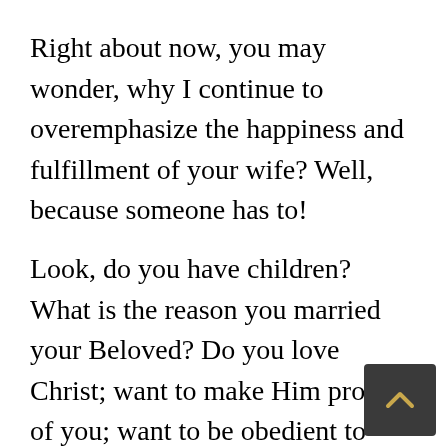Right about now, you may wonder, why I continue to overemphasize the happiness and fulfillment of your wife? Well, because someone has to!
Look, do you have children? What is the reason you married your Beloved? Do you love Christ; want to make Him proud of you; want to be obedient to Him?